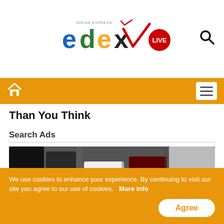[Figure (logo): Edex Live logo from Indian Express - colorful logo with e, d, e, x in different colors and LIVE badge]
Home | Menu navigation bar (orange)
Than You Think
Search Ads
[Figure (photo): Aerial view of a crowded car parking lot with many vehicles including a white Toyota car visible, cars tightly packed together]
We use cookies to enhance your experience. By continuing to visit our site you agree to our use of cookies.  More info